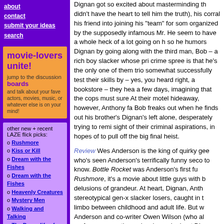about
contact
submit your ideas
search
movie-lovers unite!
jump to the discussion boards and talk about your fave actors, movies, music, or whatever else is on your mind!
other new + recent LAZE flick picks:
Rushmore
Kiss or Kill
Dream with the Fishes
Dream with the Fishes
Heavenly Creatures
Mystery Men
Walking and Talking
The Dreamlife of Angels
copyright ©1999-2000 DigsMagazine.com.
Dignan got so excited about masterminding th... didn't have the heart to tell him the truth), his corral his friend into joining his "team" for som organized by the supposedly infamous Mr. He seem to have a whole heck of a lot going on h so he humors Dignan by going along with the third man, Bob – a rich boy slacker whose pri crime spree is that he's the only one of them trio somewhat successfully test their skills by – yes, you heard right, a bookstore – they hea a few days, imagining that the cops must sure At their motel hideaway, however, Anthony fa Bob freaks out when he finds out his brother's Dignan's left alone, desperately trying to remi sight of their criminal aspirations, in hopes of to pull off the big final heist.
Review Wes Anderson is the king of quirky gee who's seen Anderson's terrifically funny seco to know. Bottle Rocket was Anderson's first fu Rushmore, it's a movie about little guys with b delusions of grandeur. At heart, Dignan, Anth stereotypical gen-x slacker losers, caught in t limbo between childhood and adult life. But w Anderson and co-writer Owen Wilson (who al performance as the seriously wacked-out Dig these guys loveable without ever making thes anything but the weirdo dork losers they actu little slow in the middle – the romance betwe maid doesn't quite work – but it redeems its